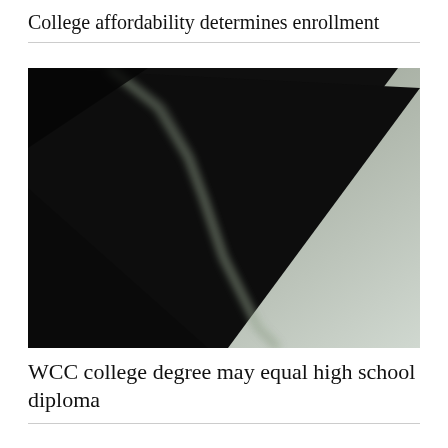College affordability determines enrollment
[Figure (photo): Abstract close-up photograph showing a diagonal split between a very dark (near-black) area in the lower-left and a light grey/white area in the upper-right, with a jagged, blurred boundary running diagonally across the image, creating a stark contrast.]
WCC college degree may equal high school diploma